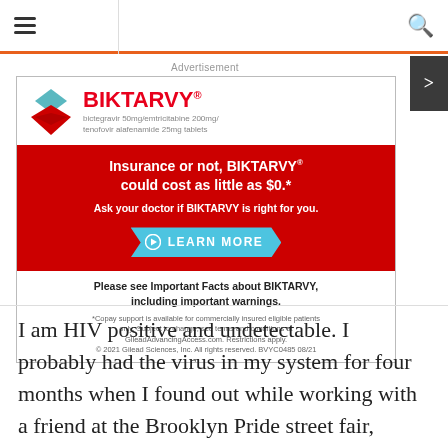Advertisement
[Figure (infographic): BIKTARVY pharmaceutical advertisement showing the drug logo with a red/teal diamond shape, tagline 'Insurance or not, BIKTARVY could cost as little as $0.*', 'Ask your doctor if BIKTARVY is right for you.', a Learn More button, important safety information, and copay support footnote.]
I am HIV positive and undetectable. I probably had the virus in my system for four months when I found out while working with a friend at the Brooklyn Pride street fair,